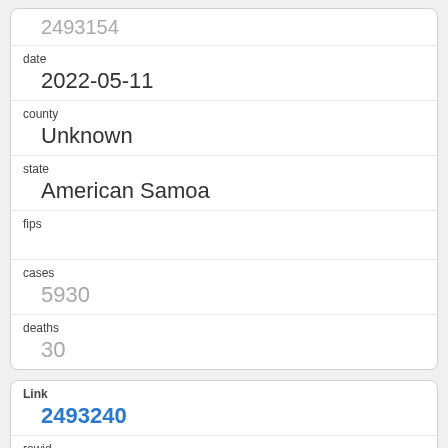2493154
date
2022-05-11
county
Unknown
state
American Samoa
fips
cases
5930
deaths
30
Link
2493240
rowid
2493240
date
2022-05-11
county